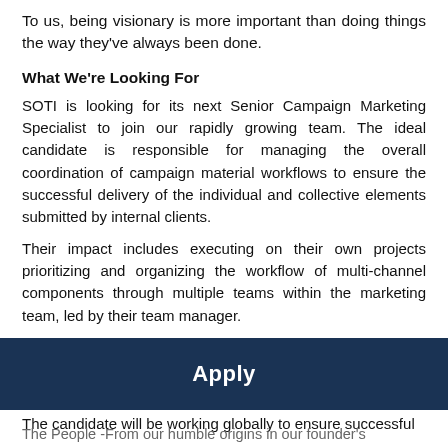To us, being visionary is more important than doing things the way they've always been done.
What We're Looking For
SOTI is looking for its next Senior Campaign Marketing Specialist to join our rapidly growing team. The ideal candidate is responsible for managing the overall coordination of campaign material workflows to ensure the successful delivery of the individual and collective elements submitted by internal clients.
Their impact includes executing on their own projects prioritizing and organizing the workflow of multi-channel components through multiple teams within the marketing team, led by their team manager.
Their contribution plays a direct role in helping provide solid execution and completion of marketing projects and initiatives.
The candidate will be working globally to ensure successful
Apply
The People -From our humble origins in our founder's